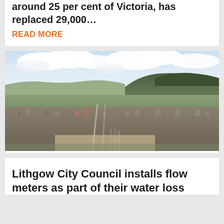around 25 per cent of Victoria, has replaced 29,000…
READ MORE
[Figure (photo): Aerial photograph of Lithgow city showing residential and commercial areas with a mountain ridge in the background and railway lines visible in the foreground]
Lithgow City Council installs flow meters as part of their water loss